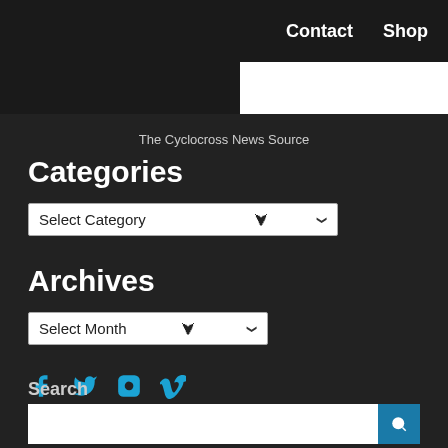Contact   Shop
The Cyclocross News Source
Categories
Select Category
Archives
Select Month
[Figure (infographic): Social media icons: Facebook, Twitter, Instagram, Vimeo in cyan/blue color]
Search